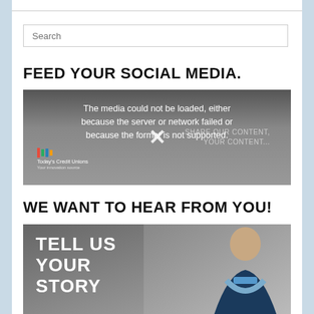Search
FEED YOUR SOCIAL MEDIA.
[Figure (screenshot): Media player showing error message: 'The media could not be loaded, either because the server or network failed or because the format is not supported.' with Today's Credit Unions logo and an X close button overlay, plus faint text 'SHARE OUR CONTENT, YOUR CONTENT']
WE WANT TO HEAR FROM YOU!
[Figure (photo): Image showing 'TELL US YOUR STORY' text in large white bold letters on left side, with a person in a suit on the right side]